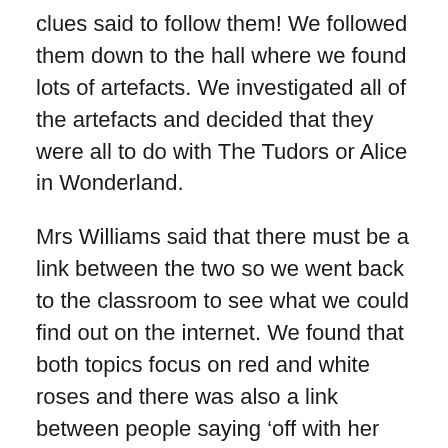clues said to follow them! We followed them down to the hall where we found lots of artefacts. We investigated all of the artefacts and decided that they were all to do with The Tudors or Alice in Wonderland.
Mrs Williams said that there must be a link between the two so we went back to the classroom to see what we could find out on the internet. We found that both topics focus on red and white roses and there was also a link between people saying ‘off with her head’
The footprints appeared again after break and they led us back to the hall where we found large letters that read ‘Off With H...